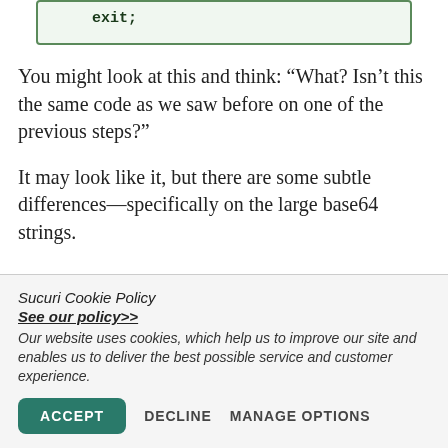exit;
You might look at this and think: “What? Isn’t this the same code as we saw before on one of the previous steps?”
It may look like it, but there are some subtle differences—specifically on the large base64 strings.
Sucuri Cookie Policy
See our policy>>
Our website uses cookies, which help us to improve our site and enables us to deliver the best possible service and customer experience.
ACCEPT   DECLINE   MANAGE OPTIONS